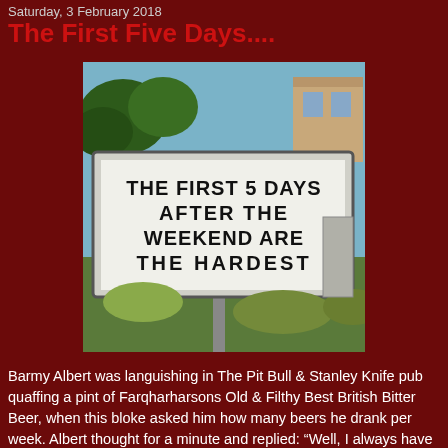Saturday, 3 February 2018
The First Five Days....
[Figure (photo): A roadside sign reading 'THE FIRST 5 DAYS AFTER THE WEEKEND ARE THE HARDEST' with outdoor scenery including trees and a building in the background.]
Barmy Albert was languishing in The Pit Bull & Stanley Knife pub quaffing a pint of Farqharharsons Old & Filthy Best British Bitter Beer, when this bloke asked him how many beers he drank per week. Albert thought for a minute and replied: "Well, I always have about five pints on a Friday,